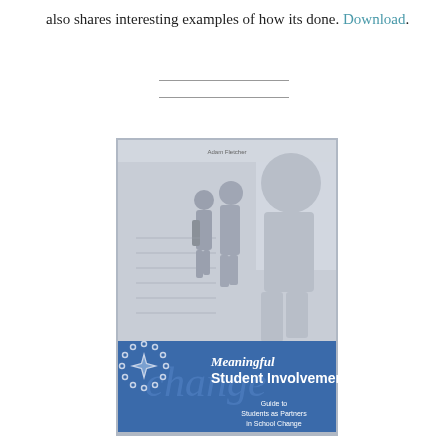also shares interesting examples of how its done. Download.
[Figure (illustration): Book cover of 'Meaningful Student Involvement: Guide to Students as Partners in School Change'. The cover shows a blue and gray design with silhouettes of students walking in a school hallway (monochrome photo), a starburst/sun logo on the lower left, the word 'change' in large watermark text, and the title text in white on a blue banner.]